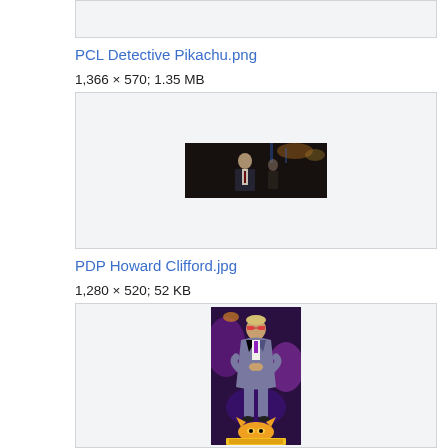[Figure (screenshot): Top cropped image box from previous section (partially visible at top)]
PCL Detective Pikachu.png
1,366 × 570; 1.35 MB
[Figure (photo): Cropped still from Detective Pikachu film showing a man in a suit in a dark scene]
PDP Howard Clifford.jpg
1,280 × 520; 52 KB
[Figure (photo): Image of Howard Clifford character from Detective Pikachu film, standing with arms crossed wearing a suit and sunglasses, with a Pikachu at his feet]